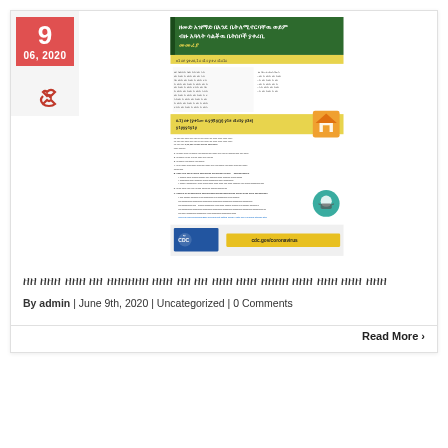[Figure (screenshot): CDC document in Amharic/Ethiopic script about COVID-19, with title in green, sections in yellow, a house icon, a masked face icon, CDC logo and cdc.gov/coronavirus gold banner. Date sidebar shows 9, 06, 2020 with red background and a link icon below.]
ዘመድ አዝማድ በእንደ ቤት ለሚኖርባቸዉ ወይም ብዙ እጓላት ሳልቾዉ ቤትሰቦች ÿቀሪቢ መመሪያ
By admin | June 9th, 2020 | Uncategorized | 0 Comments
Read More >